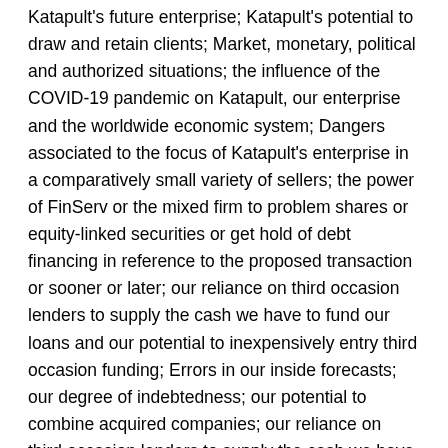Katapult's future enterprise; Katapult's potential to draw and retain clients; Market, monetary, political and authorized situations; the influence of the COVID-19 pandemic on Katapult, our enterprise and the worldwide economic system; Dangers associated to the focus of Katapult's enterprise in a comparatively small variety of sellers; the power of FinServ or the mixed firm to problem shares or equity-linked securities or get hold of debt financing in reference to the proposed transaction or sooner or later; our reliance on third occasion lenders to supply the cash we have to fund our loans and our potential to inexpensively entry third occasion funding; Errors in our inside forecasts; our degree of indebtedness; our potential to combine acquired companies; our reliance on third occasion lenders to supply the cash we have to fund our loans and our potential to inexpensively entry third occasion funding; Actions taken by regulators and the detrimental influence these actions have on our enterprise; our potential to guard our proprietary applied sciences and analytics and to maintain up with these of our rivals; Disruption of our info expertise techniques that adversely impacts our enterprise operations; ineffectively pricing the credit score threat of our potential or present clients; inaccurate info from clients or third events that will result in errors in assessing clients' {qualifications} to